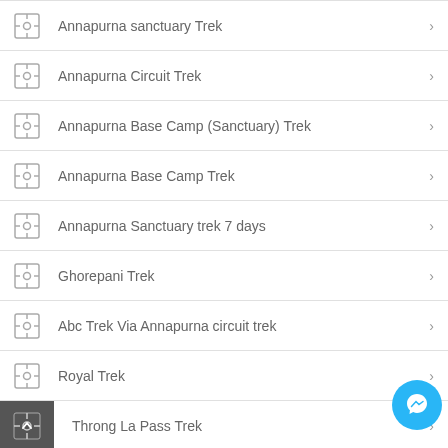Annapurna sanctuary Trek
Annapurna Circuit Trek
Annapurna Base Camp (Sanctuary) Trek
Annapurna Base Camp Trek
Annapurna Sanctuary trek 7 days
Ghorepani Trek
Abc Trek Via Annapurna circuit trek
Royal Trek
Throng La Pass Trek